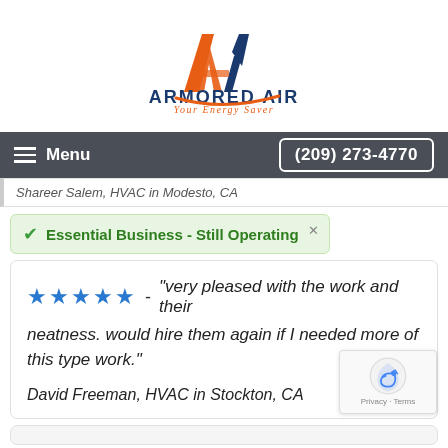[Figure (logo): Armored Air logo with orange and blue stylized 'A' icon, company name 'ARMORED AIR' in dark blue bold caps, tagline 'Your Energy Saver' in orange italic, orange swoosh underline]
Menu  (209) 273-4770
Shareer Salem, HVAC in Modesto, CA
Essential Business - Still Operating
★★★★★ - "very pleased with the work and their neatness. would hire them again if I needed more of this type work."
David Freeman, HVAC in Stockton, CA